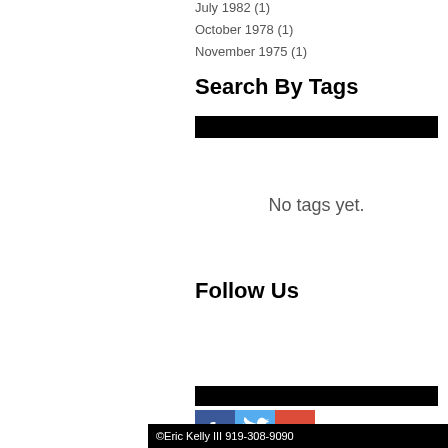July 1982 (1)
October 1978 (1)
November 1975 (1)
Search By Tags
No tags yet.
Follow Us
©Eric Kelly III 919-308-9090